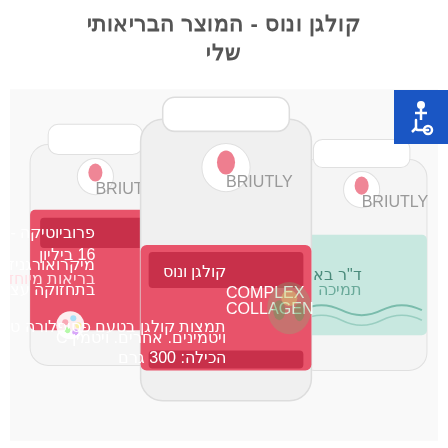קולגן ונוס - המוצר הבריאותי שלי
[Figure (photo): Three supplement bottles from Briutly brand: a probiotic bottle on the left with pink label showing Hebrew text, a large central 'Collagen Complex' bottle with pink label, and a third light-colored bottle on the right. The central bottle reads 'קולגן ונוס COMPLEX COLLAGEN' with botanical imagery and Hebrew text.]